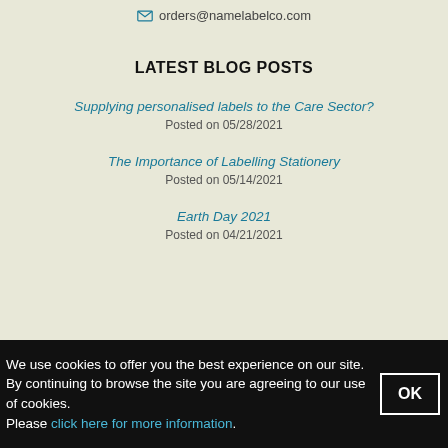✉ orders@namelabelco.com
LATEST BLOG POSTS
Supplying personalised labels to the Care Sector?
Posted on 05/28/2021
The Importance of Labelling Stationery
Posted on 05/14/2021
Earth Day 2021
Posted on 04/21/2021
We use cookies to offer you the best experience on our site. By continuing to browse the site you are agreeing to our use of cookies. Please click here for more information.